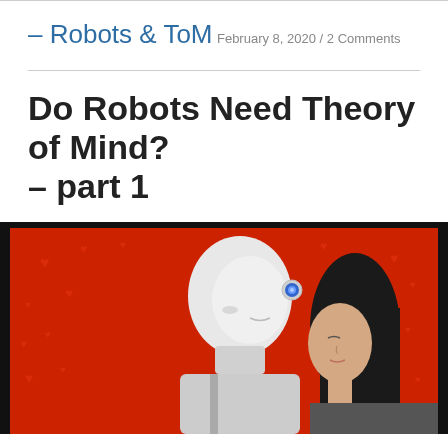– Robots & ToM
February 8, 2020 / 2 Comments
Do Robots Need Theory of Mind? – part 1
[Figure (photo): A humanoid white robot facing a dark-haired woman against a red background with heart shapes. The robot has a circular blue eye-like sensor on the side of its head.]